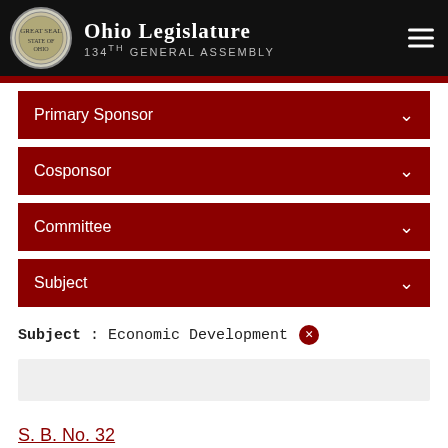Ohio Legislature 134th General Assembly
Primary Sponsor
Cosponsor
Committee
Subject
Subject : Economic Development
S. B. No. 32
GA
134
Tit